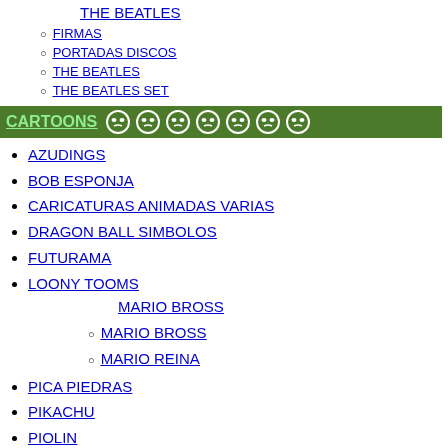THE BEATLES
FIRMAS
PORTADAS DISCOS
THE BEATLES
THE BEATLES SET
CARTOONS
AZUDINGS
BOB ESPONJA
CARICATURAS ANIMADAS VARIAS
DRAGON BALL SIMBOLOS
FUTURAMA
LOONY TOOMS
MARIO BROSS
MARIO BROSS
MARIO REINA
PICA PIEDRAS
PIKACHU
PIOLIN
ROBOT CINE
ROBOTECH
RUGRATS
SANTEAI RANGERS POWER RANGERS
SCOOBY DOO
SILUETA SUPER HEROE